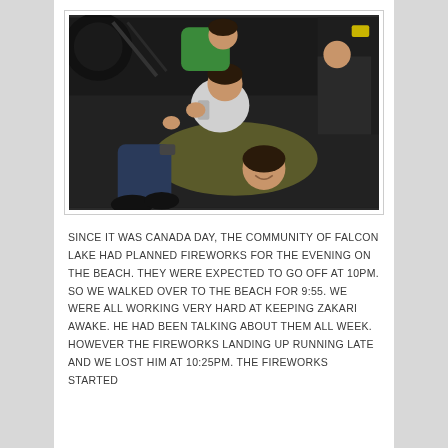[Figure (photo): Children and adults lying/sitting on dark ground at night, viewed from above. One child in green shirt, one in white, an adult in olive jacket smiling at camera.]
SINCE IT WAS CANADA DAY, THE COMMUNITY OF FALCON LAKE HAD PLANNED FIREWORKS FOR THE EVENING ON THE BEACH. THEY WERE EXPECTED TO GO OFF AT 10PM. SO WE WALKED OVER TO THE BEACH FOR 9:55. WE WERE ALL WORKING VERY HARD AT KEEPING ZAKARI AWAKE. HE HAD BEEN TALKING ABOUT THEM ALL WEEK. HOWEVER THE FIREWORKS LANDING UP RUNNING LATE AND WE LOST HIM AT 10:25PM. THE FIREWORKS STARTED